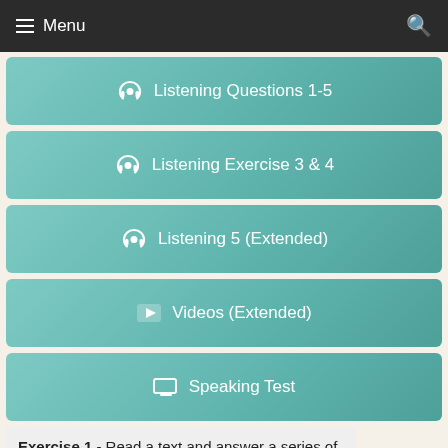Menu
Listening Questions 1-5
Listening Exercise 3 & 4
Listening 5 (Extended)
Videos (Extended)
Speaking Test
Exercise 1 - Read a text and answer a series of questions.